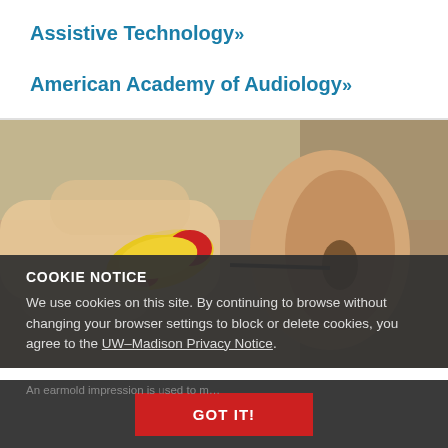Assistive Technology »
American Academy of Audiology »
[Figure (photo): Close-up photo of hands inserting or fitting an earmold impression device (yellow and red tool) into a person's ear canal.]
COOKIE NOTICE
We use cookies on this site. By continuing to browse without changing your browser settings to block or delete cookies, you agree to the UW–Madison Privacy Notice.
An earmold impression is used to make custom earpieces.